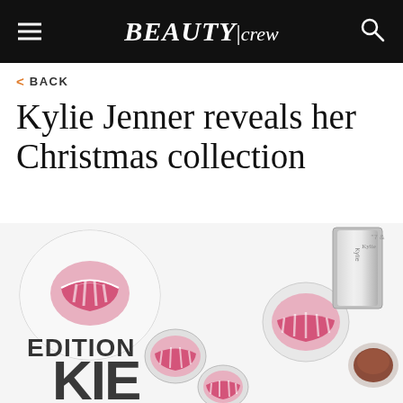BEAUTY|crew
< BACK
Kylie Jenner reveals her Christmas collection
[Figure (photo): Flat lay photo of Kylie Jenner Christmas collection makeup products on white background, including round compacts with pink lips logo, a silver rectangle case, and small round items, with EDITION and KIE text visible on packaging]